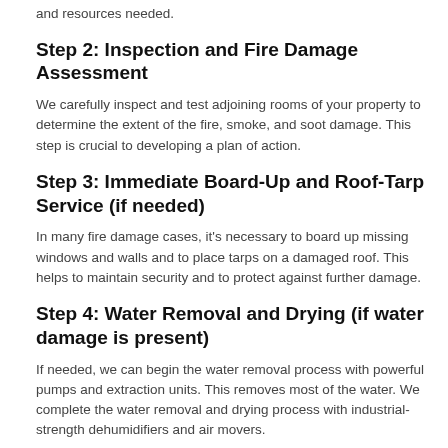and resources needed.
Step 2: Inspection and Fire Damage Assessment
We carefully inspect and test adjoining rooms of your property to determine the extent of the fire, smoke, and soot damage. This step is crucial to developing a plan of action.
Step 3: Immediate Board-Up and Roof-Tarp Service (if needed)
In many fire damage cases, it's necessary to board up missing windows and walls and to place tarps on a damaged roof. This helps to maintain security and to protect against further damage.
Step 4: Water Removal and Drying (if water damage is present)
If needed, we can begin the water removal process with powerful pumps and extraction units. This removes most of the water. We complete the water removal and drying process with industrial-strength dehumidifiers and air movers.